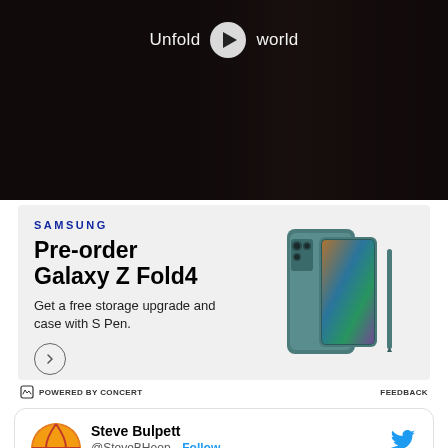[Figure (screenshot): Video thumbnail with dark background, person visible on right, white play button in center with text 'Unfold your world' overlay]
[Figure (screenshot): Samsung advertisement: Pre-order Galaxy Z Fold4, get a free storage upgrade and case with S Pen. Shows phone product image on right side. Fine print at bottom.]
SAMSUNG
Pre-order Galaxy Z Fold4
Get a free storage upgrade and case with S Pen.
See terms and conditions. S Pen compatible only with Galaxy Z Fold4 main display.
POWERED BY CONCERT
FEEDBACK
Steve Bulpett
@SteveBHoop · Follow